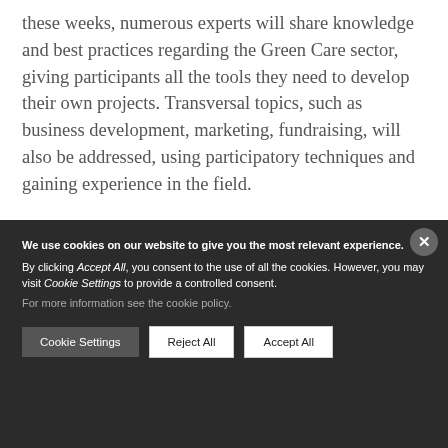these weeks, numerous experts will share knowledge and best practices regarding the Green Care sector, giving participants all the tools they need to develop their own projects. Transversal topics, such as business development, marketing, fundraising, will also be addressed, using participatory techniques and gaining experience in the field.

At the end of the school, participants will have the opportunity to do an internship at a Green Care initiative
We use cookies on our website to give you the most relevant experience. By clicking Accept All, you consent to the use of all the cookies. However, you may visit Cookie Settings to provide a controlled consent. For more information see the cookie policy.